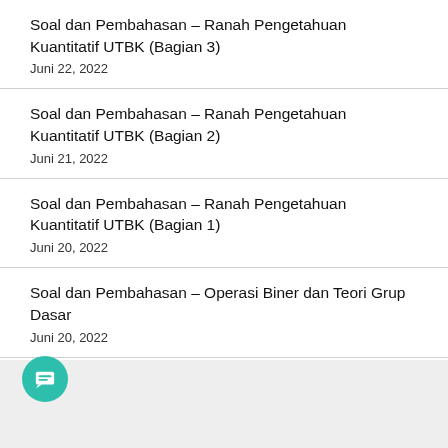Soal dan Pembahasan – Ranah Pengetahuan Kuantitatif UTBK (Bagian 3)
Juni 22, 2022
Soal dan Pembahasan – Ranah Pengetahuan Kuantitatif UTBK (Bagian 2)
Juni 21, 2022
Soal dan Pembahasan – Ranah Pengetahuan Kuantitatif UTBK (Bagian 1)
Juni 20, 2022
Soal dan Pembahasan – Operasi Biner dan Teori Grup Dasar
Juni 20, 2022
[Figure (other): Chat button icon (teal circular button with message icon) on gray footer background]